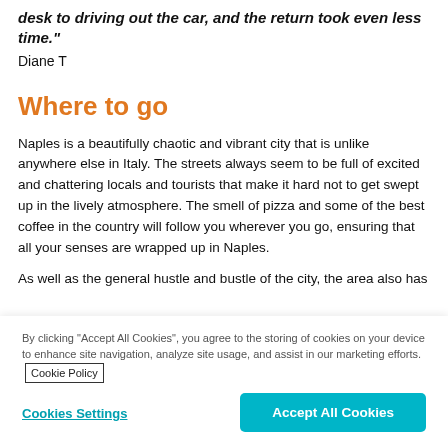desk to driving out the car, and the return took even less time."
Diane T
Where to go
Naples is a beautifully chaotic and vibrant city that is unlike anywhere else in Italy. The streets always seem to be full of excited and chattering locals and tourists that make it hard not to get swept up in the lively atmosphere. The smell of pizza and some of the best coffee in the country will follow you wherever you go, ensuring that all your senses are wrapped up in Naples.
As well as the general hustle and bustle of the city, the area also has
By clicking “Accept All Cookies”, you agree to the storing of cookies on your device to enhance site navigation, analyze site usage, and assist in our marketing efforts. Cookie Policy
Cookies Settings
Accept All Cookies